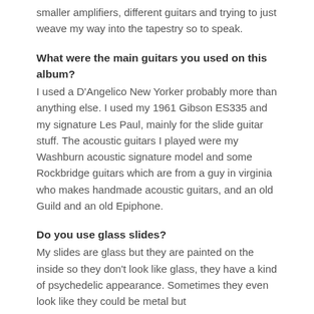smaller amplifiers, different guitars and trying to just weave my way into the tapestry so to speak.
What were the main guitars you used on this album?
I used a D'Angelico New Yorker probably more than anything else. I used my 1961 Gibson ES335 and my signature Les Paul, mainly for the slide guitar stuff. The acoustic guitars I played were my Washburn acoustic signature model and some Rockbridge guitars which are from a guy in virginia who makes handmade acoustic guitars, and an old Guild and an old Epiphone.
Do you use glass slides?
My slides are glass but they are painted on the inside so they don't look like glass, they have a kind of psychedelic appearance. Sometimes they even look like they could be metal but